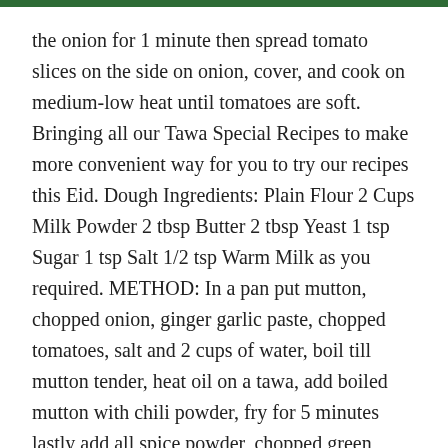the onion for 1 minute then spread tomato slices on the side on onion, cover, and cook on medium-low heat until tomatoes are soft. Bringing all our Tawa Special Recipes to make more convenient way for you to try our recipes this Eid. Dough Ingredients: Plain Flour 2 Cups Milk Powder 2 tbsp Butter 2 tbsp Yeast 1 tsp Sugar 1 tsp Salt 1/2 tsp Warm Milk as you required. METHOD: In a pan put mutton, chopped onion, ginger garlic paste, chopped tomatoes, salt and 2 cups of water, boil till mutton tender, heat oil on a tawa, add boiled mutton with chili powder, fry for 5 minutes lastly add all spice powder, chopped green chilies and coriander leaves, serve with nan. Mutton Kabuli Pulao. Usually it is made of metal, usually sheet iron, sheet steel, cast iron, or aluminum. But today i